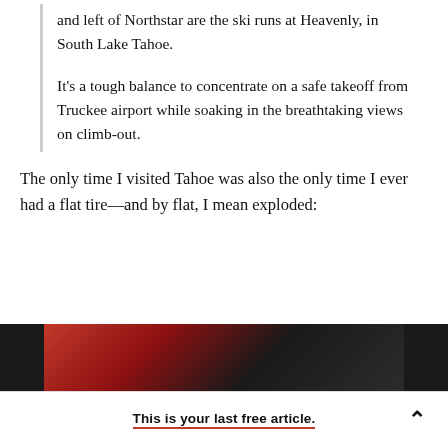and left of Northstar are the ski runs at Heavenly, in South Lake Tahoe.
It's a tough balance to concentrate on a safe takeoff from Truckee airport while soaking in the breathtaking views on climb-out.
The only time I visited Tahoe was also the only time I ever had a flat tire—and by flat, I mean exploded:
[Figure (photo): Partial view of a photo showing red and dark tones, likely a tire or vehicle close-up]
This is your last free article.